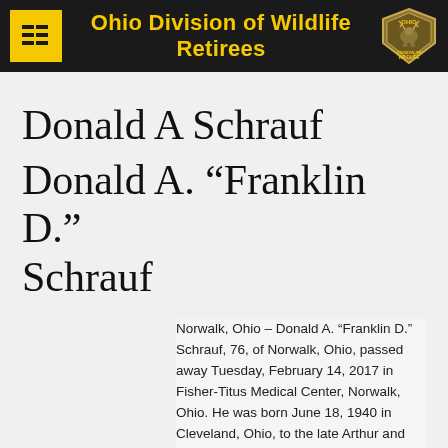Ohio Division of Wildlife Retirees
Donald A Schrauf
Donald A. “Franklin D.” Schrauf
Norwalk, Ohio – Donald A. “Franklin D.” Schrauf, 76, of Norwalk, Ohio, passed away Tuesday, February 14, 2017 in Fisher-Titus Medical Center, Norwalk, Ohio. He was born June 18, 1940 in Cleveland, Ohio, to the late Arthur and Evelyn (Drews) Schrauf.